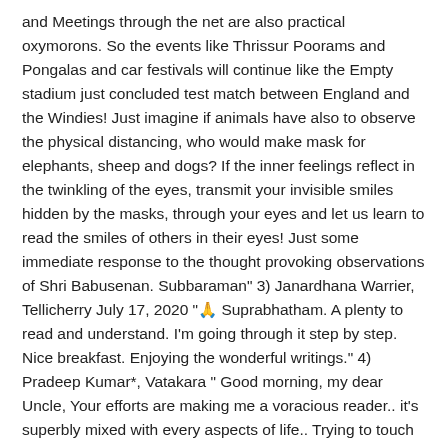and Meetings through the net are also practical oxymorons. So the events like Thrissur Poorams and Pongalas and car festivals will continue like the Empty stadium just concluded test match between England and the Windies! Just imagine if animals have also to observe the physical distancing, who would make mask for elephants, sheep and dogs? If the inner feelings reflect in the twinkling of the eyes, transmit your invisible smiles hidden by the masks, through your eyes and let us learn to read the smiles of others in their eyes! Just some immediate response to the thought provoking observations of Shri Babusenan. Subbaraman" 3) Janardhana Warrier, Tellicherry July 17, 2020 "🙏 Suprabhatham. A plenty to read and understand. I'm going through it step by step. Nice breakfast. Enjoying the wonderful writings." 4) Pradeep Kumar*, Vatakara " Good morning, my dear Uncle, Your efforts are making me a voracious reader.. it's superbly mixed with every aspects of life.. Trying to touch every corner of one's life.. A great relief in this lonely days.. A wonderful endeavor to promote the growth of inner self. Thank you, uncle ."